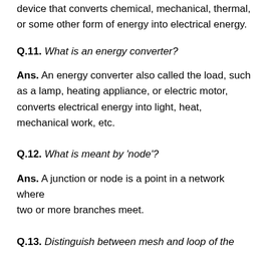device that converts chemical, mechanical, thermal, or some other form of energy into electrical energy.
Q.11. What is an energy converter?
Ans. An energy converter also called the load, such as a lamp, heating appliance, or electric motor, converts electrical energy into light, heat, mechanical work, etc.
Q.12. What is meant by 'node'?
Ans. A junction or node is a point in a network where two or more branches meet.
Q.13. Distinguish between mesh and loop of the